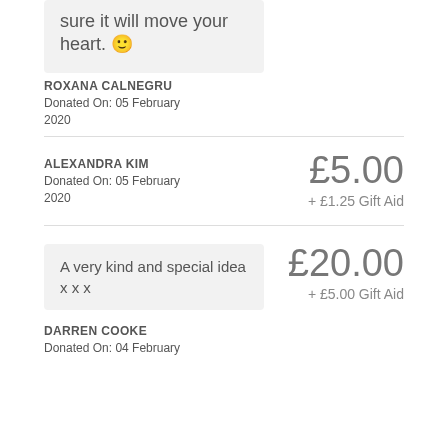sure it will move your heart. 🙂
ROXANA CALNEGRU
Donated On: 05 February 2020
ALEXANDRA KIM
Donated On: 05 February 2020
£5.00
+ £1.25 Gift Aid
A very kind and special idea x x x
£20.00
+ £5.00 Gift Aid
DARREN COOKE
Donated On: 04 February